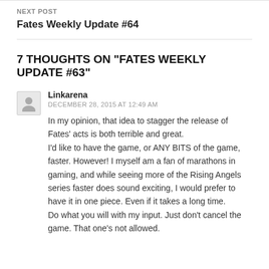NEXT POST
Fates Weekly Update #64
7 THOUGHTS ON “FATES WEEKLY UPDATE #63”
Linkarena
DECEMBER 28, 2015 AT 12:49 AM
In my opinion, that idea to stagger the release of Fates’ acts is both terrible and great.
I’d like to have the game, or ANY BITS of the game, faster. However! I myself am a fan of marathons in gaming, and while seeing more of the Rising Angels series faster does sound exciting, I would prefer to have it in one piece. Even if it takes a long time.
Do what you will with my input. Just don’t cancel the game. That one’s not allowed.